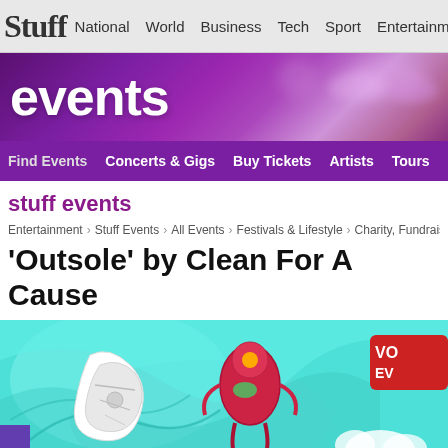Stuff | National | World | Business | Tech | Sport | Entertainment
[Figure (illustration): Events banner with purple bokeh background and 'events' text in white]
Find Events | Concerts & Gigs | Buy Tickets | Artists | Tours | Venues
stuff events
Entertainment > Stuff Events > All Events > Festivals & Lifestyle > Charity, Fundraisers
'Outsole' by Clean For A Cause
[Figure (illustration): Colorful event illustration with comic-style art showing mechanical/robotic figures on a teal and turquoise background with 'VOLUNTEER EVENT' text visible]